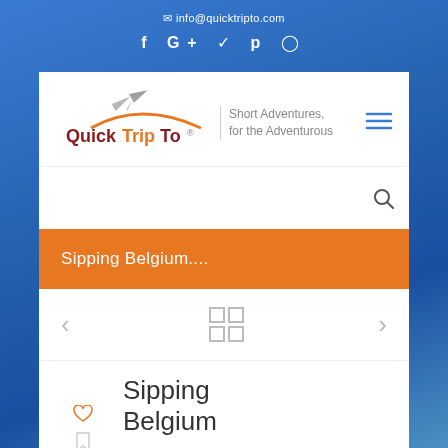✉ info@quicktripto.com
f G+ 🐦 p 📷
[Figure (logo): QuickTripTo logo with airplane graphic and orange swoosh, tagline: Short Adventures, for the Adventurous]
Sipping Belgium....
Sipping Belgium